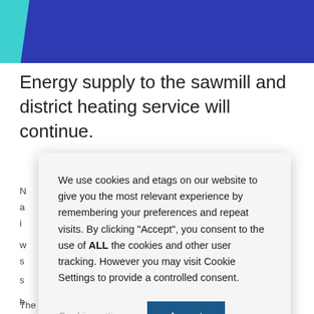Energy supply to the sawmill and district heating service will continue.
We use cookies and etags on our website to give you the most relevant experience by remembering your preferences and repeat visits. By clicking “Accept”, you consent to the use of ALL the cookies and other user tracking. However you may visit Cookie Settings to provide a controlled consent.
Cookie settings  Accept